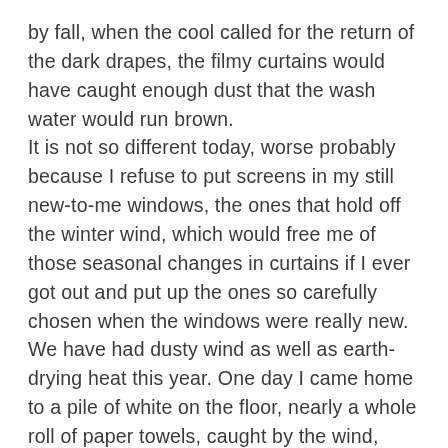by fall, when the cool called for the return of the dark drapes, the filmy curtains would have caught enough dust that the wash water would run brown. It is not so different today, worse probably because I refuse to put screens in my still new-to-me windows, the ones that hold off the winter wind, which would free me of those seasonal changes in curtains if I ever got out and put up the ones so carefully chosen when the windows were really new. We have had dusty wind as well as earth-drying heat this year. One day I came home to a pile of white on the floor, nearly a whole roll of paper towels, caught by the wind, unfurled. It happens every summer and every summer I fail to think to move them. Of course, I put the upright holder with its rewound toweling back on the corner of the microwave, beside the window, and, yesterday, the whole thing unraveled again. By the time I went back upstairs last night, the curtains and